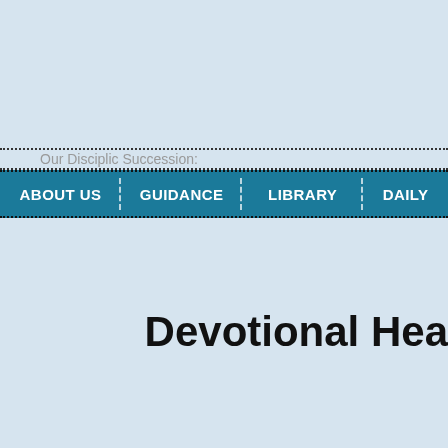Our Disciplic Succession:
ABOUT US | GUIDANCE | LIBRARY | DAILY
Devotional Hea